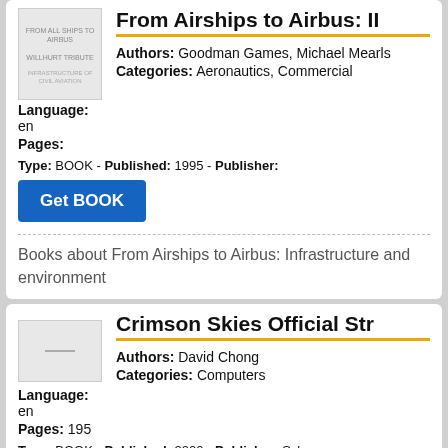From Airships to Airbus: II
Authors: Goodman Games, Michael Mearls
Language: en
Pages:
Categories: Aeronautics, Commercial
Type: BOOK - Published: 1995 - Publisher:
Get BOOK
Books about From Airships to Airbus: Infrastructure and environment
Crimson Skies Official Str
Authors: David Chong
Language: en
Pages: 195
Categories: Computers
Type: BOOK - Published: 2000 - Publisher: Sybex
Get BOOK